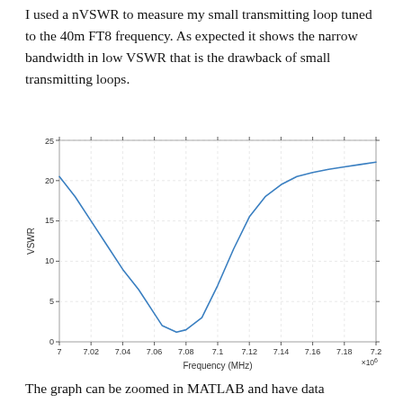I used a nVSWR to measure my small transmitting loop tuned to the 40m FT8 frequency. As expected it shows the narrow bandwidth in low VSWR that is the drawback of small transmitting loops.
[Figure (continuous-plot): Line chart of VSWR vs Frequency (MHz) x10^6 from 7.00 to 7.20 MHz. The curve starts at ~20.5 at 7.00 MHz, descends steeply to a minimum of ~1.2 near 7.074 MHz (40m FT8 frequency), then rises back to ~22.3 at 7.20 MHz. Y-axis labeled VSWR with ticks at 0, 5, 10, 15, 20, 25. X-axis ticks at 7, 7.02, 7.04, 7.06, 7.08, 7.1, 7.12, 7.14, 7.16, 7.18, 7.2 with x10^6 multiplier label.]
The graph can be zoomed in MATLAB and have data